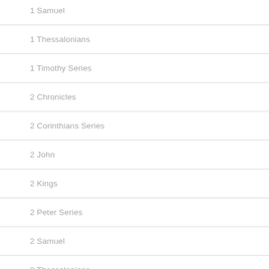1 Samuel
1 Thessalonians
1 Timothy Series
2 Chronicles
2 Corinthians Series
2 John
2 Kings
2 Peter Series
2 Samuel
2 Thessalonians
2 Timothy